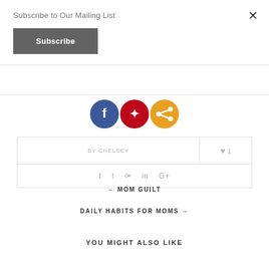Subscribe to Our Mailing List
Subscribe
[Figure (other): Social share icons: Facebook (blue circle), Pinterest (red circle), Share/orange circle]
| BY CHELSEY | ♥ 1 |
| f  t  p  in  G+ |  |
← MOM GUILT
DAILY HABITS FOR MOMS →
YOU MIGHT ALSO LIKE